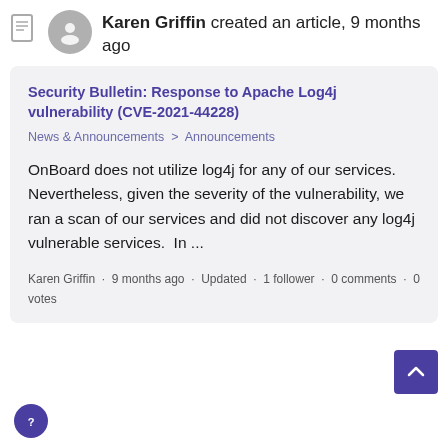Karen Griffin created an article, 9 months ago
Security Bulletin: Response to Apache Log4j vulnerability (CVE-2021-44228)
News & Announcements > Announcements
OnBoard does not utilize log4j for any of our services. Nevertheless, given the severity of the vulnerability, we ran a scan of our services and did not discover any log4j vulnerable services.  In ...
Karen Griffin · 9 months ago · Updated · 1 follower · 0 comments · 0 votes